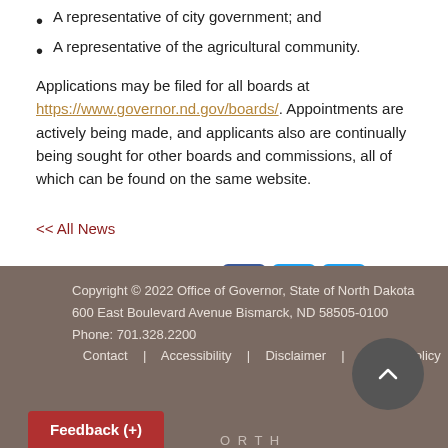A representative of city government; and
A representative of the agricultural community.
Applications may be filed for all boards at https://www.governor.nd.gov/boards/. Appointments are actively being made, and applicants also are continually being sought for other boards and commissions, all of which can be found on the same website.
<< All News
Share this Page:
Copyright © 2022 Office of Governor, State of North Dakota
600 East Boulevard Avenue Bismarck, ND 58505-0100
Phone: 701.328.2200
Contact | Accessibility | Disclaimer | Privacy Policy